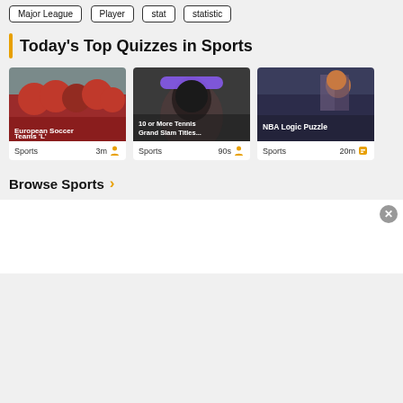Major League
Player
stat
statistic
Today's Top Quizzes in Sports
[Figure (photo): European soccer players in red jerseys celebrating on pitch, crowd in background]
European Soccer Teams 'L'
Sports   3m
[Figure (photo): Female tennis player with purple headband smiling, holding trophy]
10 or More Tennis Grand Slam Titles...
Sports   90s
[Figure (photo): Basketball player holding ball above head, indoor arena with crowd]
NBA Logic Puzzle
Sports   20m
Browse Sports